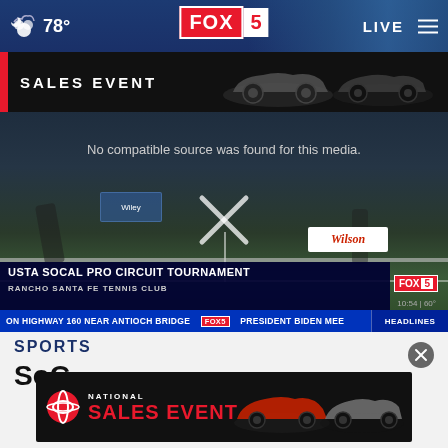FOX 5 | 78° | LIVE
[Figure (screenshot): FOX 5 news website screenshot showing navigation bar with weather (78°), FOX 5 logo, LIVE button, and hamburger menu. Below is an advertisement banner for a Toyota National Sales Event showing cars. Main content is a video player showing a tennis match (USTA SoCal Pro Circuit Tournament at Rancho Santa Fe Tennis Club) with an error message 'No compatible source was found for this media.' and an X close button. Lower third shows news ticker with ON HIGHWAY 160 NEAR ANTIOCH BRIDGE, FOX 5 logo, PRESIDENT BIDEN MEE, HEADLINES. Below the video is a SPORTS section header with 'SoC' partial text visible, and an overlapping Toyota National Sales Event advertisement.]
No compatible source was found for this media.
USTA SOCAL PRO CIRCUIT TOURNAMENT
RANCHO SANTA FE TENNIS CLUB
ON HIGHWAY 160 NEAR ANTIOCH BRIDGE
PRESIDENT BIDEN MEE
HEADLINES
SPORTS
SoC